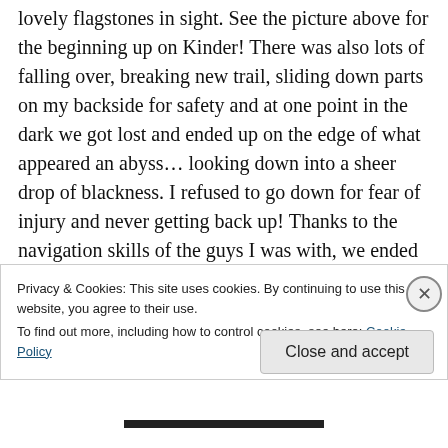lovely flagstones in sight. See the picture above for the beginning up on Kinder! There was also lots of falling over, breaking new trail, sliding down parts on my backside for safety and at one point in the dark we got lost and ended up on the edge of what appeared an abyss… looking down into a sheer drop of blackness. I refused to go down for fear of injury and never getting back up! Thanks to the navigation skills of the guys I was with, we ended up contouring round and got to where we needed to be. When I say huge wake-up call, what I really mean is had I
Privacy & Cookies: This site uses cookies. By continuing to use this website, you agree to their use.
To find out more, including how to control cookies, see here: Cookie Policy
Close and accept